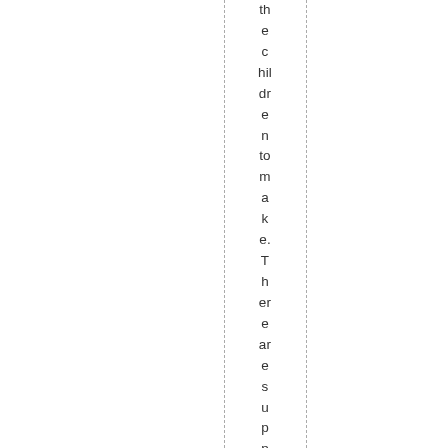the children to make. There are supposed to be el